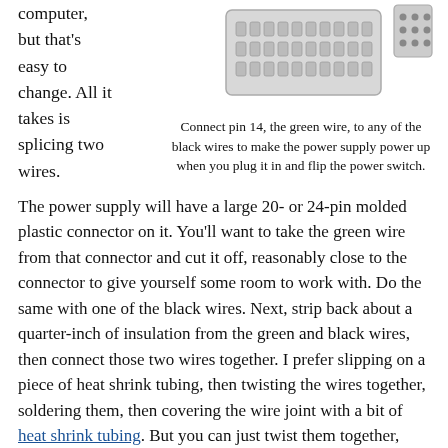computer, but that's easy to change. All it takes is splicing two wires.
[Figure (photo): Photo of a 20/24-pin ATX power supply connector (molded plastic, multiple pins visible) and a smaller connector to the right]
Connect pin 14, the green wire, to any of the black wires to make the power supply power up when you plug it in and flip the power switch.
The power supply will have a large 20- or 24-pin molded plastic connector on it. You'll want to take the green wire from that connector and cut it off, reasonably close to the connector to give yourself some room to work with. Do the same with one of the black wires. Next, strip back about a quarter-inch of insulation from the green and black wires, then connect those two wires together. I prefer slipping on a piece of heat shrink tubing, then twisting the wires together, soldering them, then covering the wire joint with a bit of heat shrink tubing. But you can just twist them together, then twist a blue wire nut on them